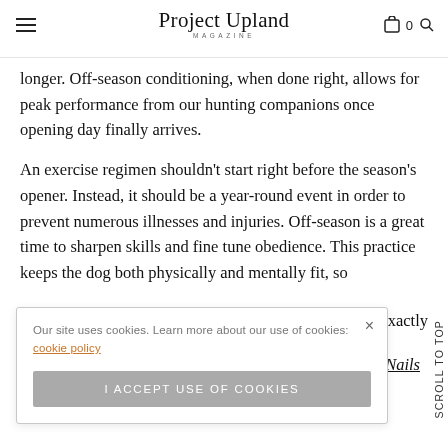Project Upland Magazine
longer. Off-season conditioning, when done right, allows for peak performance from our hunting companions once opening day finally arrives.
An exercise regimen shouldn't start right before the season's opener. Instead, it should be a year-round event in order to prevent numerous illnesses and injuries. Off-season is a great time to sharpen skills and fine tune obedience. This practice keeps the dog both physically and mentally fit, so
ow exactly
Our site uses cookies. Learn more about our use of cookies: cookie policy
I ACCEPT USE OF COOKIES
Nails
Scroll To Top